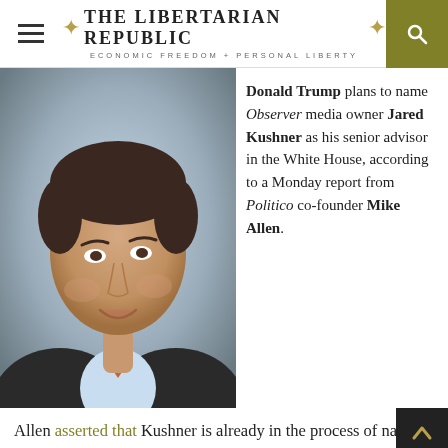THE LIBERTARIAN REPUBLIC — ECONOMIC FREEDOM + PERSONAL LIBERTY
[Figure (photo): Headshot portrait photo of Jared Kushner in a dark suit with orange tie, looking upward, light blue shirt, grey gradient background]
Donald Trump plans to name Observer media owner Jared Kushner as his senior advisor in the White House, according to a Monday report from Politico co-founder Mike Allen.
Allen asserted that Kushner is already in the process of naming 'his own staff' in the new administration. Trump's team of lawyers reportedly found a way to ensure the move was fully legal, according to Allen.